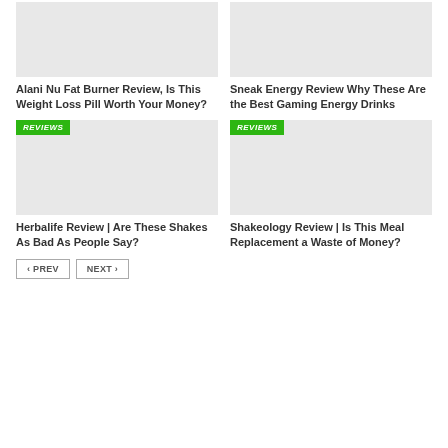[Figure (photo): Placeholder image for Alani Nu Fat Burner Review article (light gray rectangle)]
[Figure (photo): Placeholder image for Sneak Energy Review article (light gray rectangle)]
Alani Nu Fat Burner Review, Is This Weight Loss Pill Worth Your Money?
Sneak Energy Review Why These Are the Best Gaming Energy Drinks
[Figure (photo): Placeholder image for Herbalife Review article with REVIEWS badge (light gray rectangle)]
[Figure (photo): Placeholder image for Shakeology Review article with REVIEWS badge (light gray rectangle)]
Herbalife Review | Are These Shakes As Bad As People Say?
Shakeology Review | Is This Meal Replacement a Waste of Money?
‹ PREV   NEXT ›